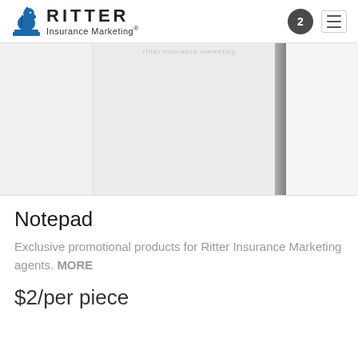Ritter Insurance Marketing
[Figure (photo): Product image of a notepad with light gray cover, shown partially from an angle with a shadow on the right side.]
Notepad
Exclusive promotional products for Ritter Insurance Marketing agents. MORE
$2/per piece